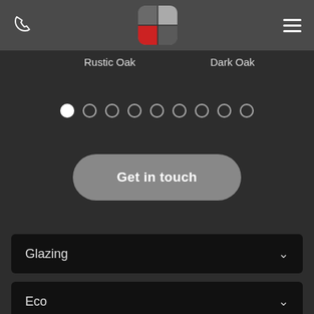[Figure (logo): Company logo: rounded square with 4 quadrants - top-left dark gray, top-right light gray, bottom-left red, bottom-right dark gray. Phone icon on left, hamburger menu on right.]
Rustic Oak
Dark Oak
[Figure (infographic): Carousel pagination dots: 9 dots in a row, first dot filled white (active), remaining 8 are empty circles with light border.]
Get in touch
Glazing
Eco